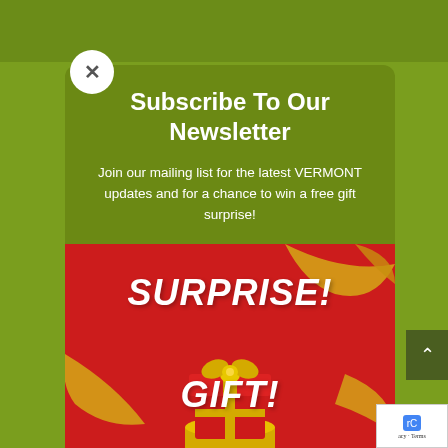Subscribe To Our Newsletter
Join our mailing list for the latest VERMONT updates and for a chance to win a free gift surprise!
[Figure (illustration): Red background gift box promotion image with 'SURPRISE!' text at top and 'GIFT!' text in middle, with gold ribbons and a red gift box with gold bow on a gold pedestal]